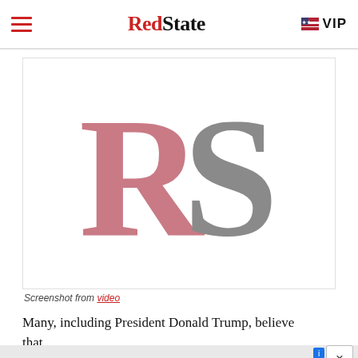RedState | VIP
[Figure (logo): RedState RS logo watermark placeholder image — large pink R and grey S letterforms on white background]
Screenshot from video
Many, including President Donald Trump, believe that
[Figure (screenshot): Advertisement banner: HELP PROTECT US AGAINST BIG TECH CENSORSHIP]
Antifa showed exactly why some people think that